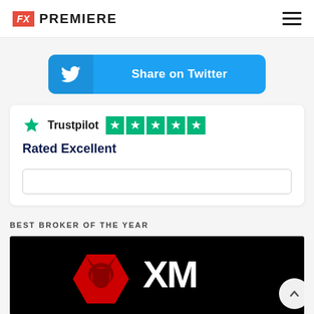FX PREMIERE
[Figure (other): Share on Twitter button with Twitter bird icon on cyan/blue background]
[Figure (other): Trustpilot logo with 5 green stars and text 'Rated Excellent']
BEST BROKER OF THE YEAR
[Figure (logo): XM broker logo - red bull head icon and white XM text on black background]